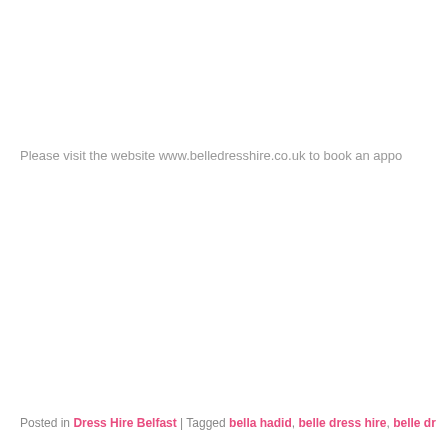Please visit the website www.belledresshire.co.uk to book an appo
Posted in Dress Hire Belfast | Tagged bella hadid, belle dress hire, belle dr